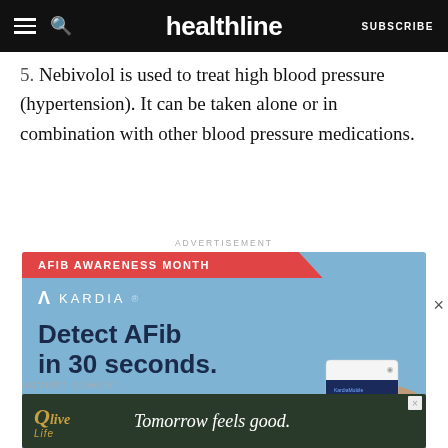healthline SUBSCRIBE
5. Nebivolol is used to treat high blood pressure (hypertension). It can be taken alone or in combination with other blood pressure medications.
ADVERTISEMENT
[Figure (infographic): Kardia AFib Awareness Month advertisement. Red ribbon banner reading 'AFIB AWARENESS MONTH'. Kardia logo with lambda symbol. Text: 'Detect AFib in 30 seconds.' and 'Get KardiaMobile Card today'. Shows a hand holding a KardiaMobile card device.]
ADVERTISEMENT
[Figure (infographic): Qlive Life advertisement with dark green background. Qlive Life logo in gold. Text: 'Tomorrow feels good.' in white italic.]